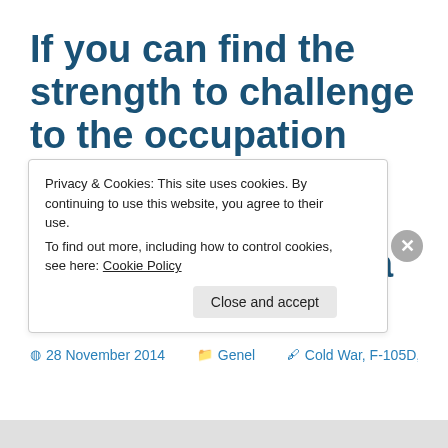If you can find the strength to challenge to the occupation which is made unjustly, you don't need a name to be a hero
28 November 2014   Genel   Cold War, F-105D,
Privacy & Cookies: This site uses cookies. By continuing to use this website, you agree to their use.
To find out more, including how to control cookies, see here: Cookie Policy
Close and accept